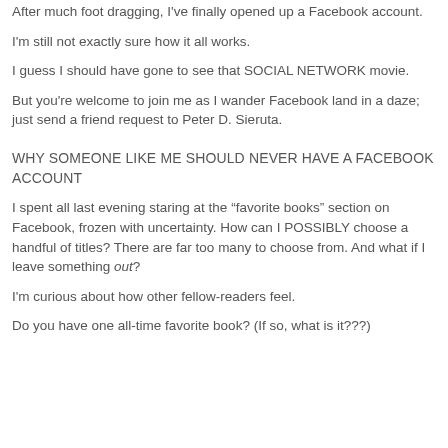After much foot dragging, I've finally opened up a Facebook account.
I'm still not exactly sure how it all works.
I guess I should have gone to see that SOCIAL NETWORK movie.
But you're welcome to join me as I wander Facebook land in a daze; just send a friend request to Peter D. Sieruta.
WHY SOMEONE LIKE ME SHOULD NEVER HAVE A FACEBOOK ACCOUNT
I spent all last evening staring at the “favorite books” section on Facebook, frozen with uncertainty. How can I POSSIBLY choose a handful of titles? There are far too many to choose from. And what if I leave something out?
I'm curious about how other fellow-readers feel.
Do you have one all-time favorite book? (If so, what is it???)